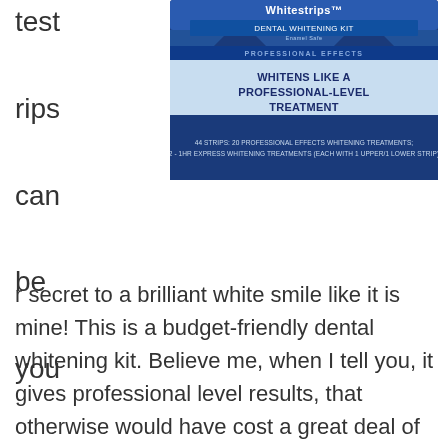[Figure (photo): Crest 3D Whitestrips Professional Effects dental whitening kit box. Blue box with white text reading 'Whitestrips DENTAL WHITENING KIT Professional Effects WHITENS LIKE A PROFESSIONAL-LEVEL TREATMENT 44 STRIPS: 20 PROFESSIONAL EFFECTS WHITENING TREATMENTS; 2-1HR EXPRESS WHITENING TREATMENTS (EACH WITH 1 UPPER/1 LOWER STRIP)']
test rips can be you r secret to a brilliant white smile like it is mine! This is a budget-friendly dental whitening kit. Believe me, when I tell you, it gives professional level results, that otherwise would have cost a great deal of money.

The package contains a total of 44 strips and serves 20 treatments. Each pair of strips contains one strip for the upper teeth and one for the lower. I used it when I was a